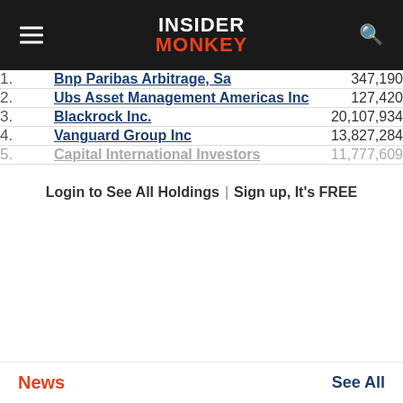Insider Monkey
| # | Name | Value |
| --- | --- | --- |
| 1. | Bnp Paribas Arbitrage, Sa | 347,190 |
| 2. | Ubs Asset Management Americas Inc | 127,420 |
| 3. | Blackrock Inc. | 20,107,934 |
| 4. | Vanguard Group Inc | 13,827,284 |
| 5. | Capital International Investors | 11,777,609 |
Login to See All Holdings | Sign up, It's FREE
News  See All